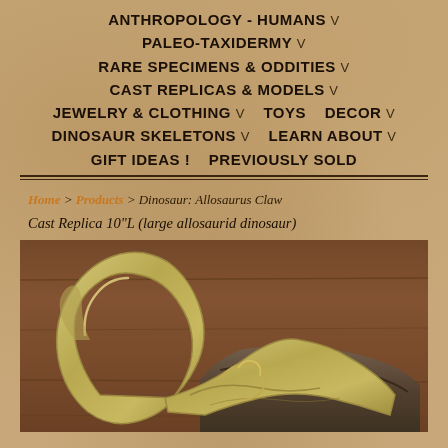ANTHROPOLOGY - HUMANS v
PALEO-TAXIDERMY v
RARE SPECIMENS & ODDITIES v
CAST REPLICAS & MODELS v
JEWELRY & CLOTHING v   TOYS   DECOR v
DINOSAUR SKELETONS v   LEARN ABOUT v
GIFT IDEAS !   PREVIOUSLY SOLD
Home > Products > Dinosaur: Allosaurus Claw Cast Replica 10"L (large allosaurid dinosaur)
[Figure (photo): Photo of a cast replica Allosaurus claw, metallic/bronze finish, curved large claw with articulated base, displayed against a brown wooden background]